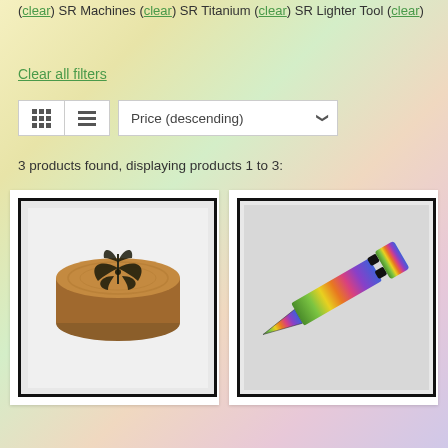(clear) SR Machines (clear) SR Titanium (clear) SR Lighter Tool (clear)
Clear all filters
3 products found, displaying products 1 to 3:
[Figure (photo): Wooden ear plug/gauge with cannabis leaf design engraved on top, circular shape, natural wood color]
[Figure (photo): Rainbow/titanium anodized metal ear taper/stretcher spike with two black O-rings near the wide end]